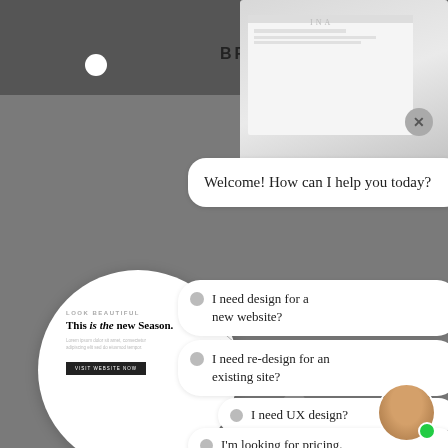BRANDS ▼
[Figure (screenshot): Website mockup shown on a device/laptop, partially visible at top right of the image]
[Figure (screenshot): Circular preview of a website showing 'LOOK BEAUTIFUL - This is the new Season.' with body text and a black CTA button]
Welcome! How can I help you today?
I need design for a new website?
I need re-design for an existing site?
I need UX design?
I'm looking for pricing.
Your website's best first impression
Let's make it a good one.